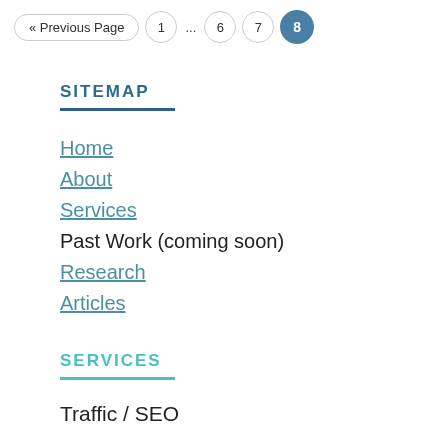« Previous Page  1  ...  6  7  8
SITEMAP
Home
About
Services
Past Work (coming soon)
Research
Articles
SERVICES
Traffic / SEO